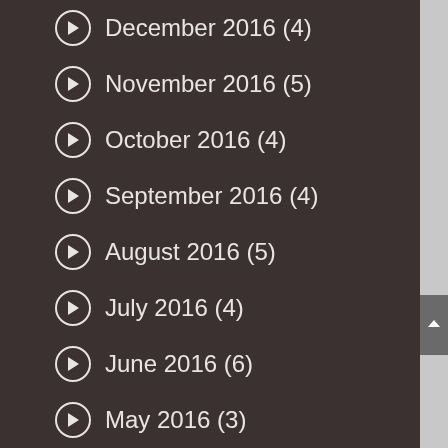December 2016 (4)
November 2016 (5)
October 2016 (4)
September 2016 (4)
August 2016 (5)
July 2016 (4)
June 2016 (6)
May 2016 (3)
April 2016 (4)
March 2016 (5)
February 2016 (4)
January 2016 (4)
December 2015 (5)